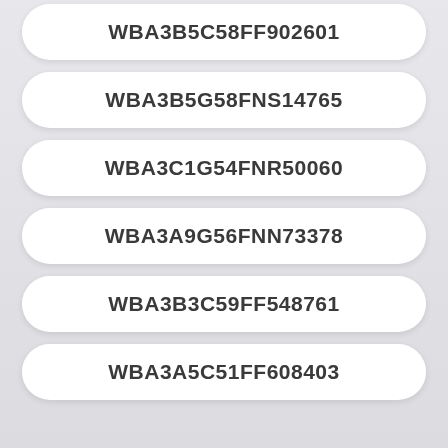WBA3B5C58FF902601
WBA3B5G58FNS14765
WBA3C1G54FNR50060
WBA3A9G56FNN73378
WBA3B3C59FF548761
WBA3A5C51FF608403